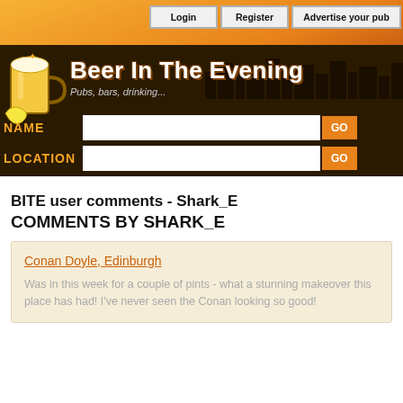[Figure (screenshot): Beer In The Evening website header with orange gradient background, beer mug logo, site title 'Beer In The Evening', subtitle 'Pubs, bars, drinking...', navigation buttons (Login, Register, Advertise your pub), and search fields for NAME and LOCATION with GO buttons]
BITE user comments - Shark_E
COMMENTS BY SHARK_E
Conan Doyle, Edinburgh
Was in this week for a couple of pints - what a stunning makeover this place has had! I've never seen the Conan looking so good!